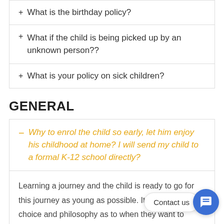+ What is the birthday policy?
+ What if the child is being picked up by an unknown person??
+ What is your policy on sick children?
GENERAL
– Why to enrol the child so early, let him enjoy his childhood at home? I will send my child to a formal K-12 school directly?
Learning a journey and the child is ready to go for this journey as young as possible. It is the parents' choice and philosophy as to when they want to enrol. However, these 2000 days, the early years are the most critical...children embarking their learning journey at this early age